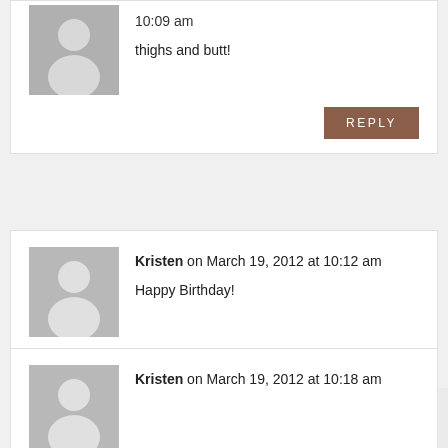10:09 am
thighs and butt!
REPLY
Kristen on March 19, 2012 at 10:12 am
Happy Birthday!
Oh my tummy for sure! I had twins in October and oh my tummy needs some work!
REPLY
Kristen on March 19, 2012 at 10:18 am